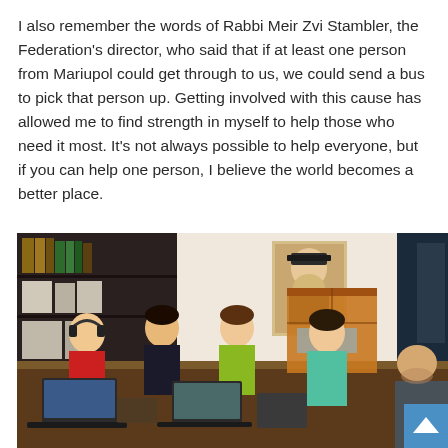I also remember the words of Rabbi Meir Zvi Stambler, the Federation's director, who said that if at least one person from Mariupol could get through to us, we could send a bus to pick that person up. Getting involved with this cause has allowed me to find strength in myself to help those who need it most. It's not always possible to help everyone, but if you can help one person, I believe the world becomes a better place.
[Figure (photo): Office scene with four people sitting around a table with laptops, a bookshelf in the background, a portrait on the wall, cardboard boxes, and a fifth person partially visible on the right. Workers appear to be coordinating relief efforts.]